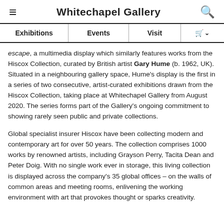Whitechapel Gallery
| Exhibitions | Events | Visit |  |
| --- | --- | --- | --- |
escape, a multimedia display which similarly features works from the Hiscox Collection, curated by British artist Gary Hume (b. 1962, UK). Situated in a neighbouring gallery space, Hume's display is the first in a series of two consecutive, artist-curated exhibitions drawn from the Hiscox Collection, taking place at Whitechapel Gallery from August 2020. The series forms part of the Gallery's ongoing commitment to showing rarely seen public and private collections.
Global specialist insurer Hiscox have been collecting modern and contemporary art for over 50 years. The collection comprises 1000 works by renowned artists, including Grayson Perry, Tacita Dean and Peter Doig. With no single work ever in storage, this living collection is displayed across the company's 35 global offices – on the walls of common areas and meeting rooms, enlivening the working environment with art that provokes thought or sparks creativity.